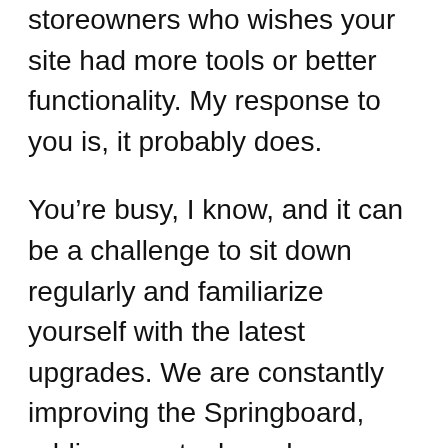storeowners who wishes your site had more tools or better functionality. My response to you is, it probably does.
You’re busy, I know, and it can be a challenge to sit down regularly and familiarize yourself with the latest upgrades. We are constantly improving the Springboard, adding new tools and enhancing functionality. Here’s what you need to consider: Your website can be a huge business-generating machine if you’re willing to take the time to understand its power and to optimize it for both search engines and your users.
Let me fill you in on a few things that you might be missing, but need to know.